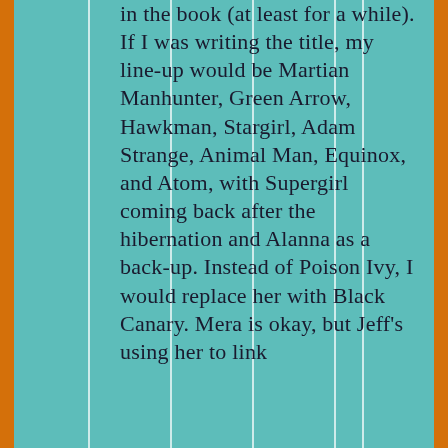in the book (at least for a while). If I was writing the title, my line-up would be Martian Manhunter, Green Arrow, Hawkman, Stargirl, Adam Strange, Animal Man, Equinox, and Atom, with Supergirl coming back after the hibernation and Alanna as a back-up. Instead of Poison Ivy, I would replace her with Black Canary. Mera is okay, but Jeff's using her to link